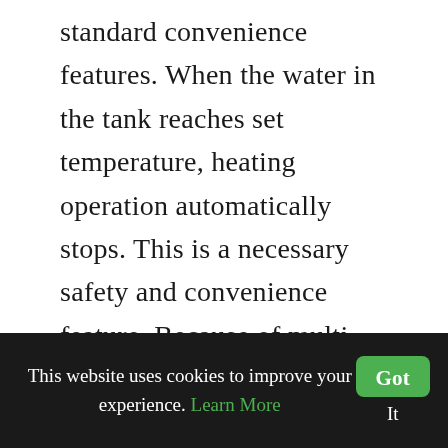standard convenience features. When the water in the tank reaches set temperature, heating operation automatically stops. This is a necessary safety and convenience feature. Because of multi-functional safety valves and LED indicators using this instant water heater is super easy, withal.
The build quality of this storage water heater is superior. Its body is made of engineering-grade ABS plastic whereas
This website uses cookies to improve your experience. Learn More